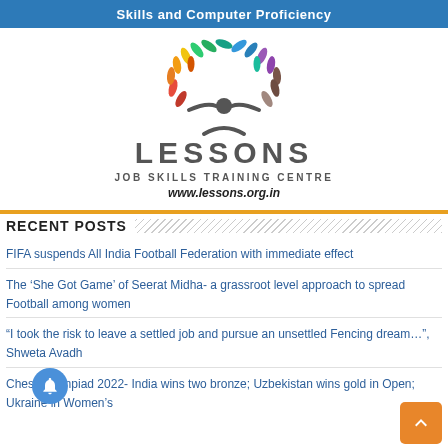Skills and Computer Proficiency
[Figure (logo): LESSONS Job Skills Training Centre logo with colorful feather/leaf tree above a person silhouette and text LESSONS JOB SKILLS TRAINING CENTRE www.lessons.org.in]
RECENT POSTS
FIFA suspends All India Football Federation with immediate effect
The ‘She Got Game’ of Seerat Midha- a grassroot level approach to spread Football among women
“I took the risk to leave a settled job and pursue an unsettled Fencing dream…”, Shweta Avadh
Chess Olympiad 2022- India wins two bronze; Uzbekistan wins gold in Open; Ukraine in Women’s